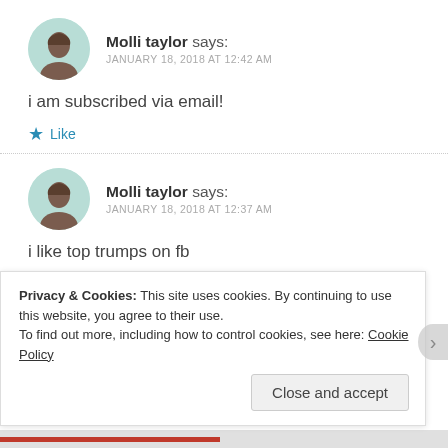Molli taylor says: JANUARY 18, 2018 AT 12:42 AM
i am subscribed via email!
★ Like
Molli taylor says: JANUARY 18, 2018 AT 12:37 AM
i like top trumps on fb
Privacy & Cookies: This site uses cookies. By continuing to use this website, you agree to their use. To find out more, including how to control cookies, see here: Cookie Policy
Close and accept